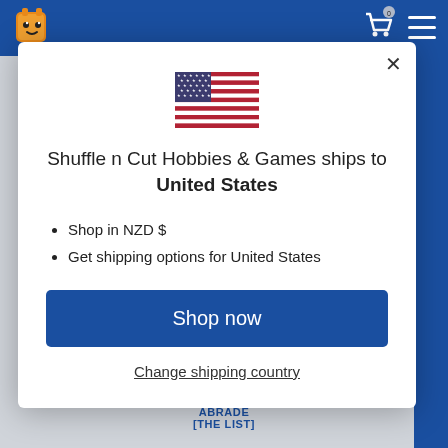[Figure (screenshot): Website header bar with mascot logo, shopping cart icon with badge showing 0, and hamburger menu icon on blue background]
[Figure (illustration): United States flag emoji/icon]
Shuffle n Cut Hobbies & Games ships to United States
Shop in NZD $
Get shipping options for United States
Shop now
Change shipping country